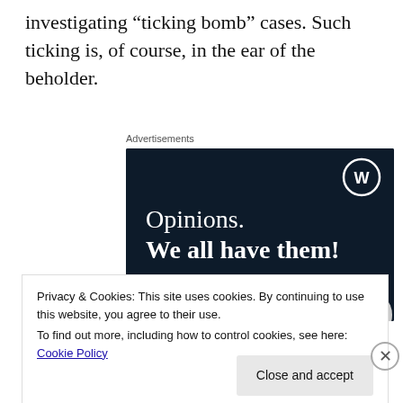investigating “ticking bomb” cases. Such ticking is, of course, in the ear of the beholder.
Advertisements
[Figure (other): WordPress advertisement banner with dark navy background. Shows WordPress logo (W in circle) top right. Text reads: 'Opinions. We all have them!' with a pink button bar at bottom left and a grey circle bottom right.]
Privacy & Cookies: This site uses cookies. By continuing to use this website, you agree to their use.
To find out more, including how to control cookies, see here: Cookie Policy